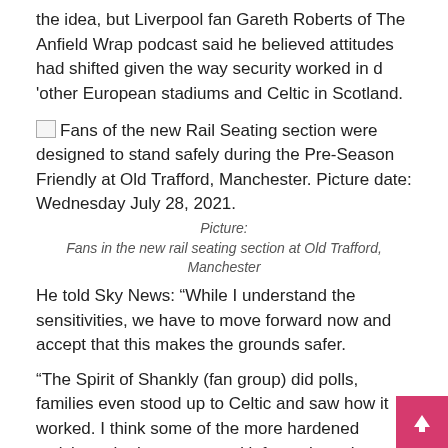the idea, but Liverpool fan Gareth Roberts of The Anfield Wrap podcast said he believed attitudes had shifted given the way security worked in d 'other European stadiums and Celtic in Scotland.
[Figure (photo): Fans of the new Rail Seating section were designed to stand safely during the Pre-Season Friendly at Old Trafford, Manchester. Picture date: Wednesday July 28, 2021.]
Picture:
Fans in the new rail seating section at Old Trafford, Manchester
He told Sky News: “While I understand the sensitivities, we have to move forward now and accept that this makes the grounds safer.
“The Spirit of Shankly (fan group) did polls, families even stood up to Celtic and saw how it worked. I think some of the more hardened activists who have opposed it for so long that they’ve changed their mind now and they can see it’s safe.”
Celtic has installed rail seats for the past five years in a section